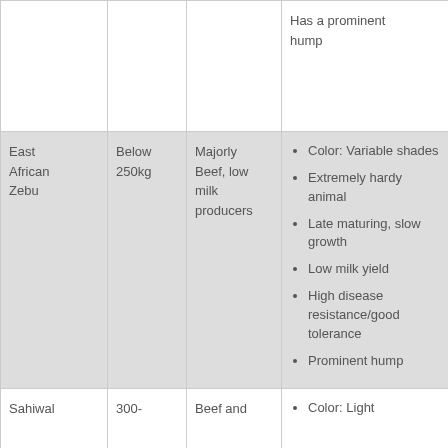| Breed | Weight | Purpose | Characteristics | Location |
| --- | --- | --- | --- | --- |
|  |  |  | Has a prominent hump |  |
| East African Zebu | Below 250kg | Majorly Beef, low milk producers | Color: Variable shades
Extremely hardy animal
Late maturing, slow growth
Low milk yield
High disease resistance/good tolerance
Prominent hump | Mainly South range and N Rift c |
| Sahiwal | 300- | Beef and | Color: Light | Mainl |